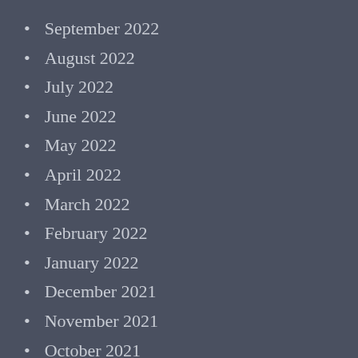September 2022
August 2022
July 2022
June 2022
May 2022
April 2022
March 2022
February 2022
January 2022
December 2021
November 2021
October 2021
September 2021
August 2021
July 2021
February 2021